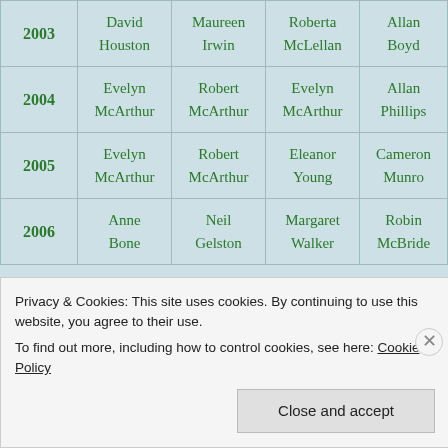| Year | Col1 | Col2 | Col3 | Col4 |
| --- | --- | --- | --- | --- |
| 2003 | David Houston | Maureen Irwin | Roberta McLellan | Allan Boyd |
| 2004 | Evelyn McArthur | Robert McArthur | Evelyn McArthur | Allan Phillips |
| 2005 | Evelyn McArthur | Robert McArthur | Eleanor Young | Cameron Munro |
| 2006 | Anne Bone | Neil Gelston | Margaret Walker | Robin McBride |
Privacy & Cookies: This site uses cookies. By continuing to use this website, you agree to their use. To find out more, including how to control cookies, see here: Cookie Policy
Close and accept